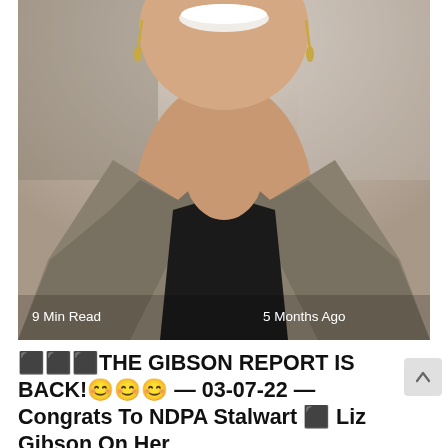[Figure (photo): A smiling woman with gold drop earrings wearing a grey blazer over a black top, photographed from roughly chin/neck level upward. The photo has overlay text '9 Min Read' on the bottom left and '5 Months Ago' on the bottom right.]
🔲🔲🔲THE GIBSON REPORT IS BACK!😊😊😊 — 03-07-22 — Congrats To NDPA Stalwart 🔲 Liz Gibson On Her